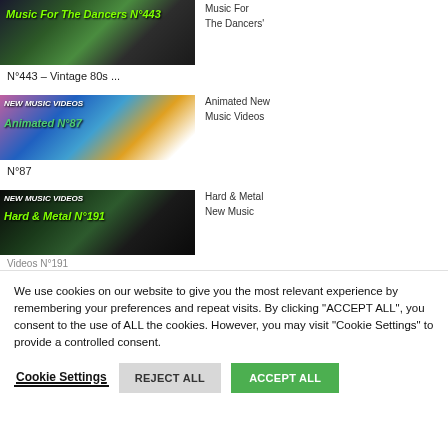[Figure (screenshot): Thumbnail image for 'Music For The Dancers N°443' with green grunge text overlay on dark background]
Music For The Dancers'
N°443 – Vintage 80s ...
[Figure (screenshot): Thumbnail for 'Animated New Music Videos Animated N°87' with colorful pop-art style background]
Animated New Music Videos
N°87
[Figure (screenshot): Thumbnail for 'Hard & Metal New Music Videos N°191' with dark green/black background]
Hard & Metal New Music Videos
Videos N°191
We use cookies on our website to give you the most relevant experience by remembering your preferences and repeat visits. By clicking "ACCEPT ALL", you consent to the use of ALL the cookies. However, you may visit "Cookie Settings" to provide a controlled consent.